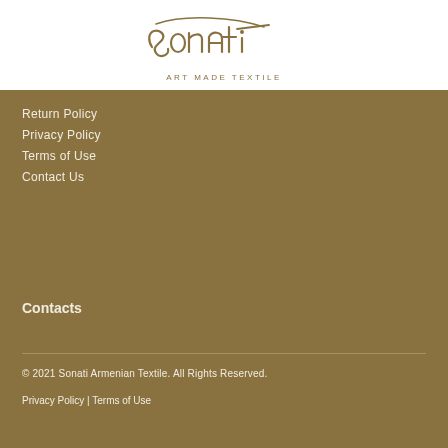[Figure (logo): Sonati ART MADE TEXTILE logo with stylized handwritten text and tagline]
Return Policy
Privacy Policy
Terms of Use
Contact Us
Contacts
© 2021 Sonati Armenian Textile. All Rights Reserved.
Privacy Policy | Terms of Use